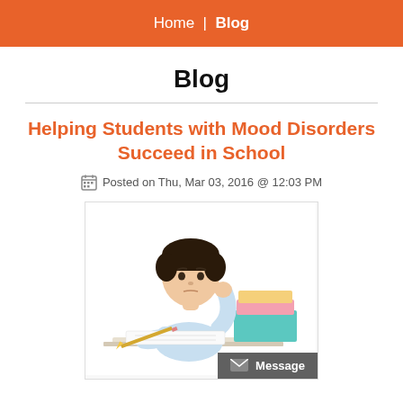Home | Blog
Blog
Helping Students with Mood Disorders Succeed in School
Posted on Thu, Mar 03, 2016 @ 12:03 PM
[Figure (photo): Young boy sitting at a desk, resting his chin on his hand with a contemplative expression, with a pencil in hand and a stack of books beside him, white background.]